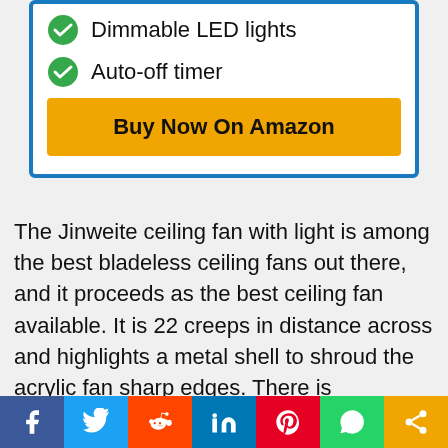Dimmable LED lights
Auto-off timer
Buy Now On Amazon
The Jinweite ceiling fan with light is among the best bladeless ceiling fans out there, and it proceeds as the best ceiling fan available. It is 22 creeps in distance across and highlights a metal shell to shroud the acrylic fan sharp edges. There is additionally a breeze redirector cover and an acrylic lampshade.
You can get the Jinweite ceiling fan in dark
f  Twitter  Reddit  in  Pinterest  WhatsApp  Share